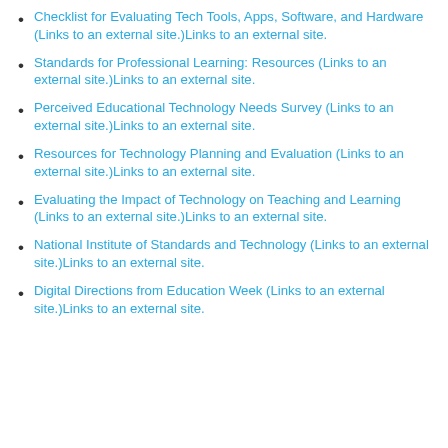Checklist for Evaluating Tech Tools, Apps, Software, and Hardware (Links to an external site.)Links to an external site.
Standards for Professional Learning: Resources (Links to an external site.)Links to an external site.
Perceived Educational Technology Needs Survey (Links to an external site.)Links to an external site.
Resources for Technology Planning and Evaluation (Links to an external site.)Links to an external site.
Evaluating the Impact of Technology on Teaching and Learning (Links to an external site.)Links to an external site.
National Institute of Standards and Technology (Links to an external site.)Links to an external site.
Digital Directions from Education Week (Links to an external site.)Links to an external site.